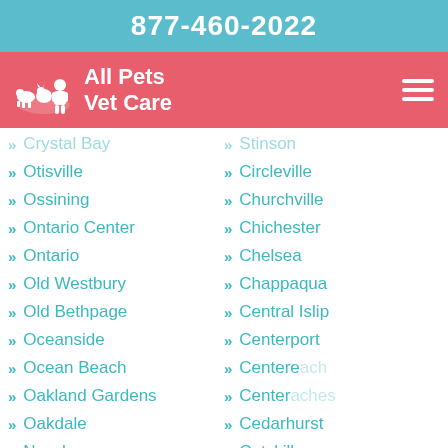877-460-2022
[Figure (logo): All Pets Vet Care logo with animal silhouettes and navigation bar]
Crystal Bay
Otisville
Ossining
Ontario Center
Ontario
Old Westbury
Old Bethpage
Oceanside
Ocean Beach
Oakland Gardens
Oakdale
Nyack
Nunda
Northport
Stinson
Circleville
Churchville
Chichester
Chelsea
Chappaqua
Central Islip
Centerport
Centere
Centeraches
Cedarhurst
Catskill
Castle Point
Castile